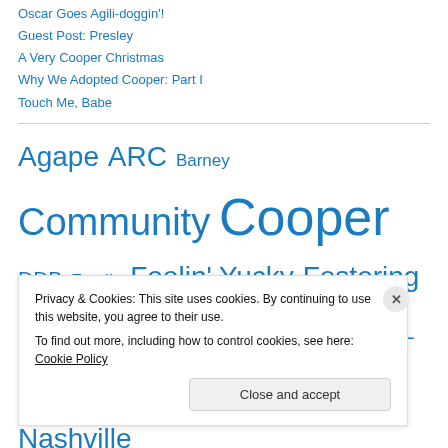Oscar Goes Agili-doggin'!
Guest Post: Presley
A Very Cooper Christmas
Why We Adopted Cooper: Part I
Touch Me, Babe
Agape ARC Barney Community Cooper DDB Family Feelin' Yucky Fostering Friends Guest Post Kaylee Life LOL Molly Tamale MTPRC Nashville
Privacy & Cookies: This site uses cookies. By continuing to use this website, you agree to their use.
To find out more, including how to control cookies, see here: Cookie Policy